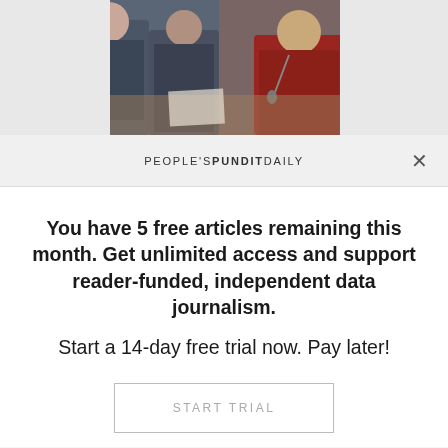[Figure (photo): Partial photo of people at what appears to be a UN Security Council meeting, including a woman in a red jacket speaking at a microphone]
PEOPLE'S PUNDIT DAILY
You have 5 free articles remaining this month. Get unlimited access and support reader-funded, independent data journalism.
Start a 14-day free trial now. Pay later!
START TRIAL
SUBSCRIBE
SIGN IN